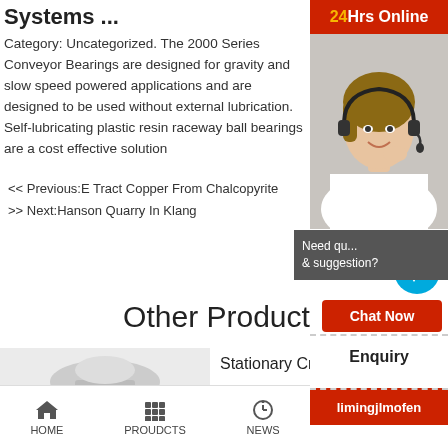Systems ...
Category: Uncategorized. The 2000 Series Conveyor Bearings are designed for gravity and slow speed powered applications and are designed to be used without external lubrication. Self-lubricating plastic resin raceway ball bearings are a cost effective solution
<< Previous:E Tract Copper From Chalcopyrite
>> Next:Hanson Quarry In Klang
Other Products
[Figure (photo): Stationary crusher machine product image]
Stationary Crus...
HPT HST PE PE...
[Figure (photo): Customer service agent with headset - 24Hrs Online sidebar widget]
Need qu... & suggestion?
Chat Now
Enquiry
limingjlmofen
HOME   PROUDCTS   NEWS   limingjlmofen